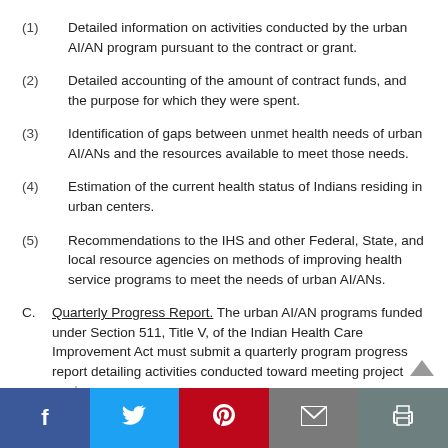(1) Detailed information on activities conducted by the urban AI/AN program pursuant to the contract or grant.
(2) Detailed accounting of the amount of contract funds, and the purpose for which they were spent.
(3) Identification of gaps between unmet health needs of urban AI/ANs and the resources available to meet those needs.
(4) Estimation of the current health status of Indians residing in urban centers.
(5) Recommendations to the IHS and other Federal, State, and local resource agencies on methods of improving health service programs to meet the needs of urban AI/ANs.
C. Quarterly Progress Report. The urban AI/AN programs funded under Section 511, Title V, of the Indian Health Care Improvement Act must submit a quarterly program progress report detailing activities conducted toward meeting project goals